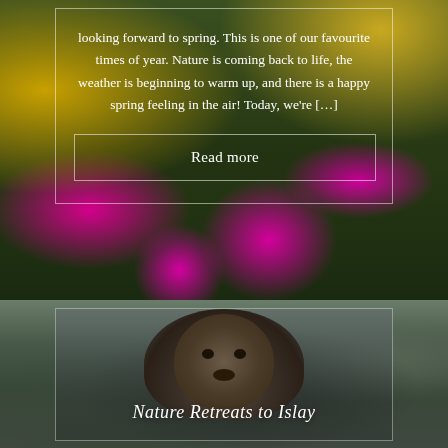[Figure (photo): Background photo of colourful wildflowers — yellow gorse and pink heather — growing on rocky hillside, with a white-bordered overlay text box containing article excerpt and Read more button]
looking forward to spring. This is one of our favourite times of year. Nature is coming back to life, the weather is beginning to warm up, and there is a happy spring feeling in the air! Today, we're […]
Read more
[Figure (photo): Background photo of an otter close-up portrait in muted grey-green tones, with a white-bordered card overlay containing the title 'Nature Retreats to Islay']
Nature Retreats to Islay